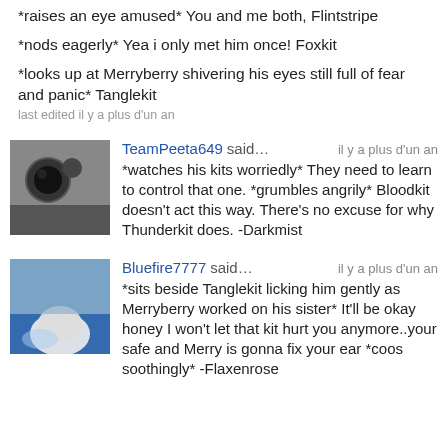*raises an eye amused* You and me both, Flintstripe
*nods eagerly* Yea i only met him once! Foxkit
*looks up at Merryberry shivering his eyes still full of fear and panic* Tanglekit
last edited il y a plus d'un an
TeamPeeta649 said… il y a plus d'un an
*watches his kits worriedly* They need to learn to control that one. *grumbles angrily* Bloodkit doesn't act this way. There's no excuse for why Thunderkit does. -Darkmist
Bluefire7777 said… il y a plus d'un an
*sits beside Tanglekit licking him gently as Merryberry worked on his sister* It'll be okay honey I won't let that kit hurt you anymore..your safe and Merry is gonna fix your ear *coos soothingly* -Flaxenrose